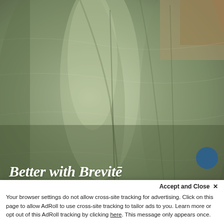[Figure (photo): Close-up photo of sage green / olive colored fabric or clothing folds, showing texture and seams, with some warm-toned fabric visible in the upper right corner.]
Better with Brevitē
As a brand, we have the power to shape our impact on
Accept and Close ✕
Your browser settings do not allow cross-site tracking for advertising. Click on this page to allow AdRoll to use cross-site tracking to tailor ads to you. Learn more or opt out of this AdRoll tracking by clicking here. This message only appears once.